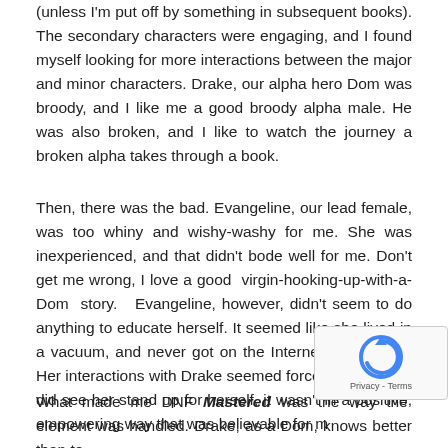(unless I'm put off by something in subsequent books). The secondary characters were engaging, and I found myself looking for more interactions between the major and minor characters. Drake, our alpha hero Dom was broody, and I like me a good broody alpha male. He was also broken, and I like to watch the journey a broken alpha takes through a book.
Then, there was the bad. Evangeline, our lead female, was too whiny and wishy-washy for me. She was inexperienced, and that didn't bode well for me. Don't get me wrong, I love a good virgin-hooking-up-with-a-Dom story. Evangeline, however, didn't seem to do anything to educate herself. It seemed like she lived in a vacuum, and never got on the Internet or anything. Her interactions with Drake seemed forced, and while I did see her stand up for herself, it wasn't in a positive, empowering way that was believable for m—
What made me DNF Mastered was the way the element was handled. Drake, as a Dom, knows better than to
[Figure (other): reCAPTCHA widget overlay in bottom-right corner showing the reCAPTCHA circular arrow logo and 'Privacy - Terms' text]